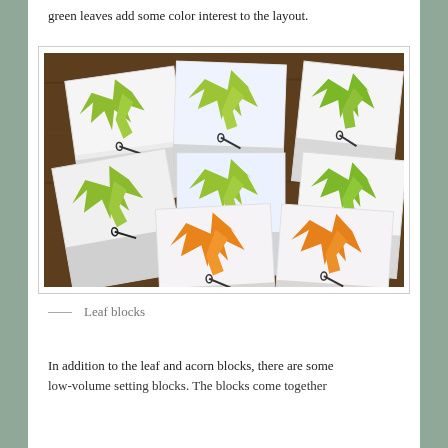green leaves add some color interest to the layout.
[Figure (photo): Eight quilt blocks arranged in a fan/spread layout on a wooden surface. Most blocks feature green leaf designs on white/dotted fabric with gray floral trim. Two blocks in the bottom center have orange leaf designs. The blocks appear to be unfinished quilt squares with safety pins visible.]
— Leaf blocks
In addition to the leaf and acorn blocks, there are some low-volume setting blocks. The blocks come together